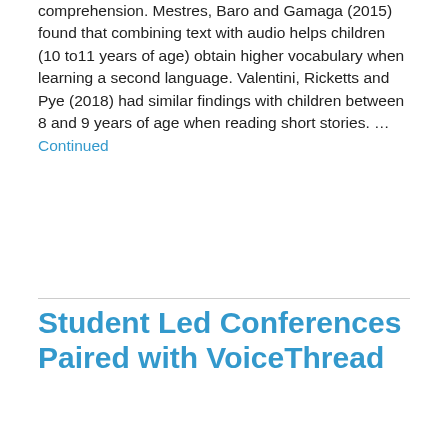comprehension. Mestres, Baro and Gamaga (2015) found that combining text with audio helps children (10 to11 years of age) obtain higher vocabulary when learning a second language. Valentini, Ricketts and Pye (2018) had similar findings with children between 8 and 9 years of age when reading short stories. … Continued
Student Led Conferences Paired with VoiceThread
This is a guest post by educator and VoiceThreader, Kelle Stroud. Buckland Mills Elementary School implemented Student Led Conferences 9 years ago. It was our goal to provide an opportunity for the students to be at the center of the conference and lead the way in sharing their learning. We also wanted to engage our community and have them play a significant role with their child in the conference. The traditional conference with the teacher and parent only gave a glimpse into the ability of their child